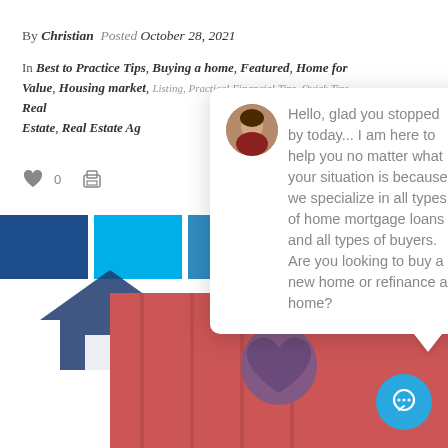By Christian  Posted October 28, 2021
In Best to Practice Tips, Buying a home, Featured, Home for Value, Housing market, Listing, Practical Financial Tips, Quick Tips, Real Estate, Real Estate Ag...
[Figure (screenshot): Chat popup overlay with avatar photo and message: Hello, glad you stopped by today... I am here to help you no matter what your situation is because we specialize in all types of home mortgage loans and all types of buyers. Are you looking to buy a new home or refinance a home?]
[Figure (photo): Photo of a red gift/door with a purple crochet heart ornament hanging on it]